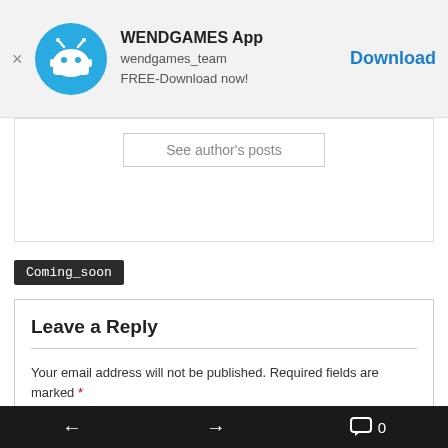[Figure (screenshot): App advertisement banner for WENDGAMES App with icon, text details, and Download button]
See author's posts
Coming_soon
Leave a Reply
Your email address will not be published. Required fields are marked *
Comment *
← → 💬 0